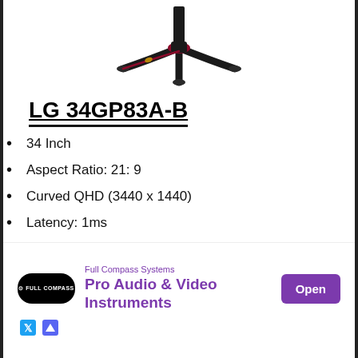[Figure (photo): LG 34GP83A-B gaming monitor viewed from behind, showing the black and red stand with a distinctive Y-shape base against a white background]
LG 34GP83A-B
34 Inch
Aspect Ratio: 21: 9
Curved QHD (3440 x 1440)
Latency: 1ms
Nano IPS
144Hz
[Figure (screenshot): Advertisement banner for Full Compass Systems - Pro Audio & Video Instruments with an Open button in purple]